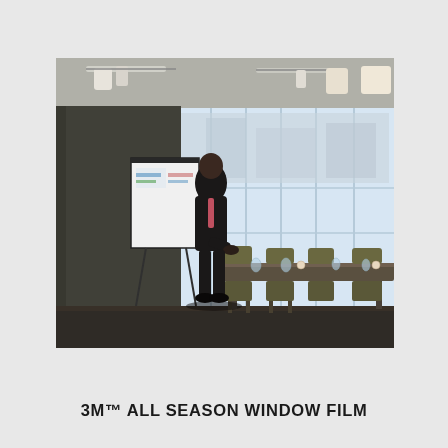[Figure (photo): A person in a suit standing at a conference table in a modern office with large floor-to-ceiling windows, a whiteboard/presentation board visible on the left, green chairs around the long table, overhead lighting, and city view through the windows.]
3M™ ALL SEASON WINDOW FILM